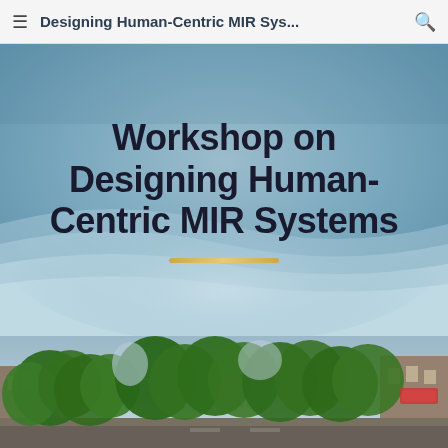Designing Human-Centric MIR Sys...
Workshop on Designing Human-Centric MIR Systems
[Figure (photo): Street-level photograph of a European city boulevard lined with dense green trees, brick buildings, and urban storefronts, shot on an overcast day.]